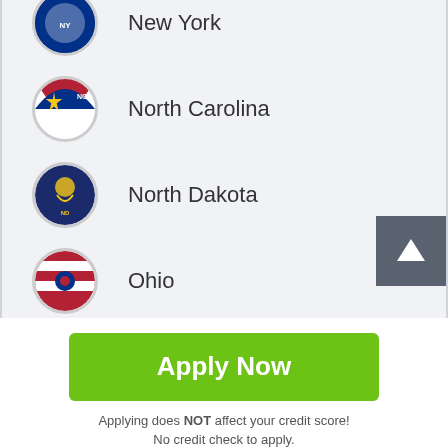New York
North Carolina
North Dakota
Ohio
Oklahoma
Oregon
Apply Now
Applying does NOT affect your credit score! No credit check to apply.